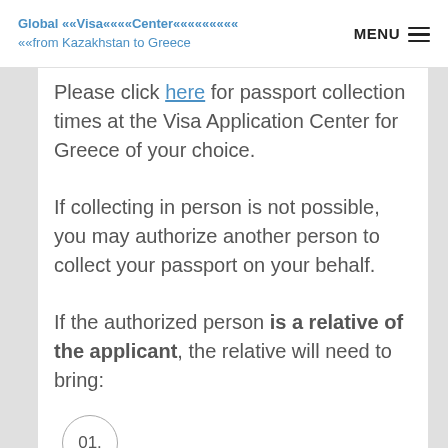Global Visa Center from Kazakhstan to Greece | MENU
Please click here for passport collection times at the Visa Application Center for Greece of your choice.
If collecting in person is not possible, you may authorize another person to collect your passport on your behalf.
If the authorized person is a relative of the applicant, the relative will need to bring:
01.